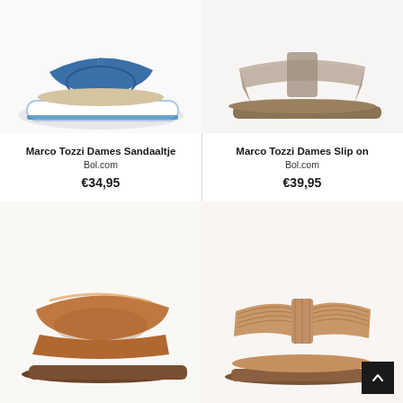[Figure (photo): Blue platform slide sandal on white sole - Marco Tozzi]
Marco Tozzi Dames Sandaaltje
Bol.com
€34,95
[Figure (photo): Silver/grey glitter H-strap flat slide sandal - Marco Tozzi]
Marco Tozzi Dames Slip on
Bol.com
€39,95
[Figure (photo): Tan/cognac leather flat slide sandal - Marco Tozzi]
[Figure (photo): Rose gold/bronze woven H-strap flat slide sandal - Marco Tozzi]